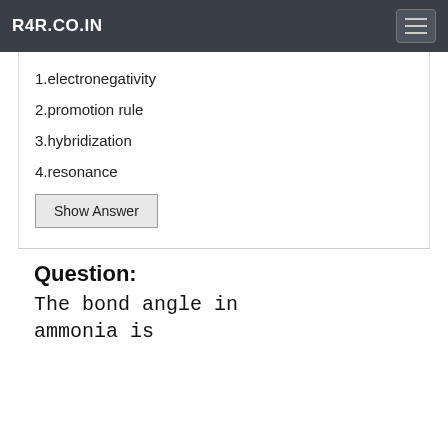R4R.CO.IN
1.electronegativity
2.promotion rule
3.hybridization
4.resonance
Show Answer
Question:
The bond angle in ammonia is